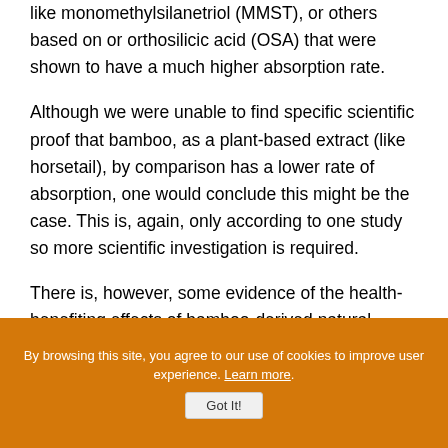like monomethylsilanetriol (MMST), or others based on or orthosilicic acid (OSA) that were shown to have a much higher absorption rate.
Although we were unable to find specific scientific proof that bamboo, as a plant-based extract (like horsetail), by comparison has a lower rate of absorption, one would conclude this might be the case. This is, again, only according to one study so more scientific investigation is required.
There is, however, some evidence of the health-benefiting effects of bamboo-derived natural products in vivo research, but not specifically
By browsing this site, you agree to our use of cookies to improve user experience. Learn more. Got It!